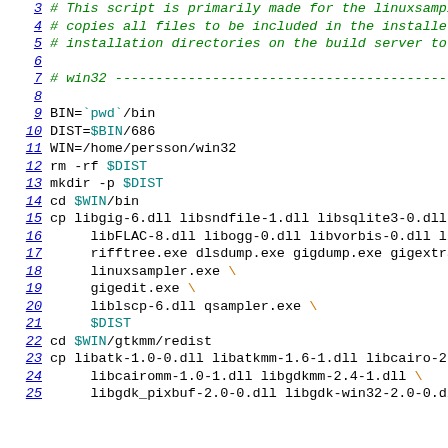[Figure (screenshot): Source code listing showing a shell script for win32 build, lines 3-25, with line numbers in blue on the left and code in monospace font. Comments in green italic, variables in teal, continuation backslashes in orange.]